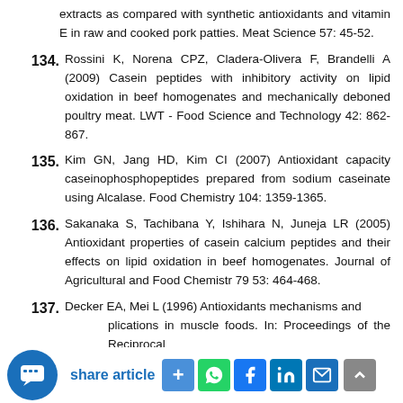extracts as compared with synthetic antioxidants and vitamin E in raw and cooked pork patties. Meat Science 57: 45-52.
134. Rossini K, Norena CPZ, Cladera-Olivera F, Brandelli A (2009) Casein peptides with inhibitory activity on lipid oxidation in beef homogenates and mechanically deboned poultry meat. LWT - Food Science and Technology 42: 862-867.
135. Kim GN, Jang HD, Kim CI (2007) Antioxidant capacity caseinophosphopeptides prepared from sodium caseinate using Alcalase. Food Chemistry 104: 1359-1365.
136. Sakanaka S, Tachibana Y, Ishihara N, Juneja LR (2005) Antioxidant properties of casein calcium peptides and their effects on lipid oxidation in beef homogenates. Journal of Agricultural and Food Chemistr 79 53: 464-468.
137. Decker EA, Mei L (1996) Antioxidants mechanisms and applications in muscle foods. In: Proceedings of the Reciprocal
share article